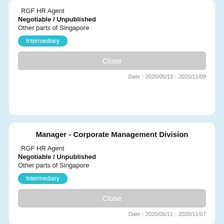RGF HR Agent
Negotiable / Unpublished
Other parts of Singapore
Intermediary
Close
Date：2020/05/13：2020/11/09
Manager - Corporate Management Division
RGF HR Agent
Negotiable / Unpublished
Other parts of Singapore
Intermediary
Close
Date：2020/05/11：2020/11/07